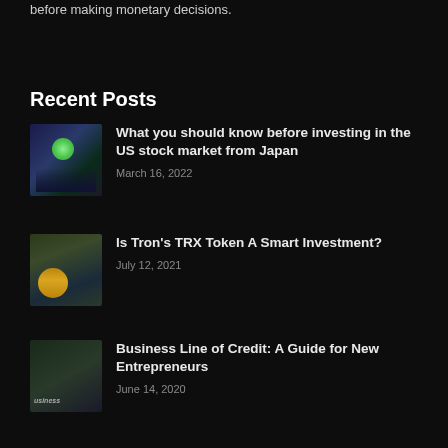before making monetary decisions.
Recent Posts
What you should know before investing in the US stock market from Japan
March 16, 2022
Is Tron's TRX Token A Smart Investment?
July 12, 2021
Business Line of Credit: A Guide for New Entrepreneurs
June 14, 2020